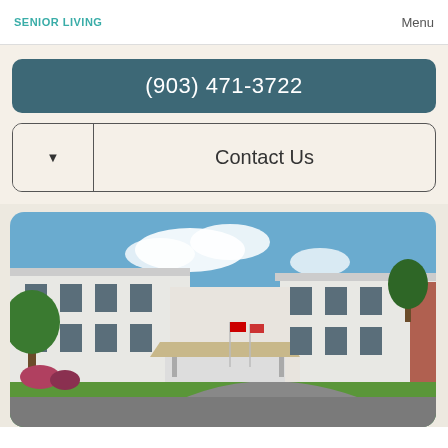SENIOR LIVING | Menu
(903) 471-3722
Contact Us
[Figure (photo): Exterior photo of a senior living facility — a large two-story white building with a covered front entrance canopy, flags, a driveway, green lawn, trees, and blue sky.]